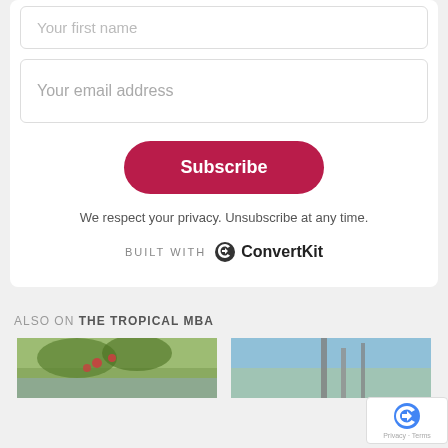Your first name
Your email address
Subscribe
We respect your privacy. Unsubscribe at any time.
BUILT WITH ConvertKit
ALSO ON THE TROPICAL MBA
[Figure (photo): Photo of trees with red berries against a light sky]
[Figure (photo): Photo of tall poles or masts against a blue sky]